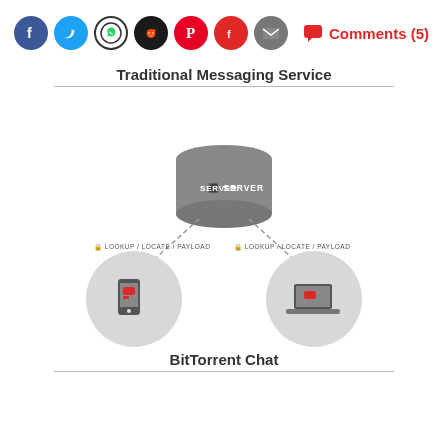Social sharing icons: Facebook, Twitter, WhatsApp, Reddit, Pinterest, Flipboard, Email | Comments (5)
[Figure (infographic): Traditional Messaging Service diagram showing a server (cylinder) at top center, connected by dashed arrows labeled 'LOOKUP / LOCATE / PAYLOAD' to a smartphone (bottom left, in gray circle) and a laptop (bottom right, in gray circle).]
Traditional Messaging Service
BitTorrent Chat